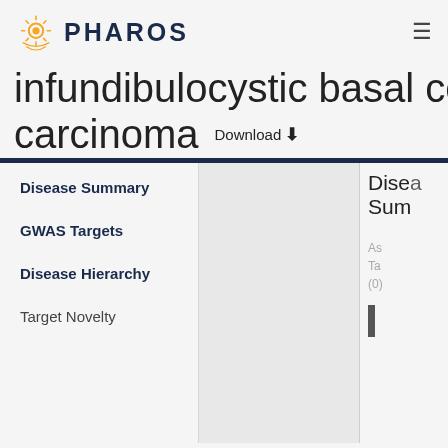PHAROS
infundibulocystic basal cell carcinoma
Download
Disease Summary
GWAS Targets
Disease Hierarchy
Target Novelty
Disease Summary
Associated Targets (0)